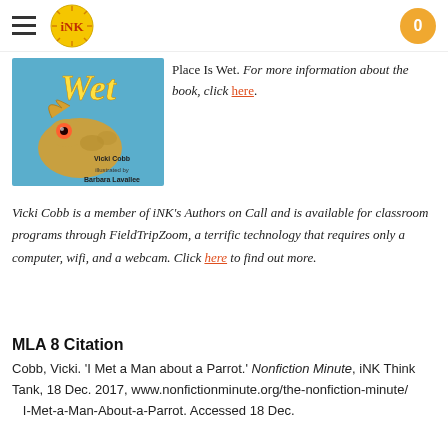iNK Think Tank navigation header with hamburger menu, logo, and cart badge (0)
[Figure (illustration): Book cover showing a colorful lizard/chameleon illustration with text 'Wet', 'Vicki Cobb', 'Barbara Lavallee']
Place Is Wet. For more information about the book, click here.
Vicki Cobb is a member of iNK's Authors on Call and is available for classroom programs through FieldTripZoom, a terrific technology that requires only a computer, wifi, and a webcam. Click here to find out more.
MLA 8 Citation
Cobb, Vicki. 'I Met a Man about a Parrot.' Nonfiction Minute, iNK Think Tank, 18 Dec. 2017, www.nonfictionminute.org/the-nonfiction-minute/I-Met-a-Man-About-a-Parrot. Accessed 18 Dec.